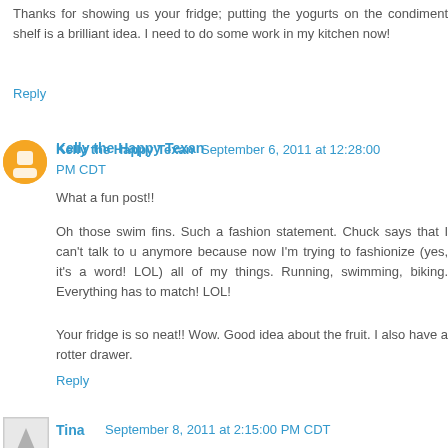Thanks for showing us your fridge; putting the yogurts on the condiment shelf is a brilliant idea. I need to do some work in my kitchen now!
Reply
Kelly the Happy Texan  September 6, 2011 at 12:28:00 PM CDT
What a fun post!!
Oh those swim fins. Such a fashion statement. Chuck says that I can't talk to u anymore because now I'm trying to fashionize (yes, it's a word! LOL) all of my things. Running, swimming, biking. Everything has to match! LOL!
Your fridge is so neat!! Wow. Good idea about the fruit. I also have a rotter drawer.
Reply
Tina  September 8, 2011 at 2:15:00 PM CDT